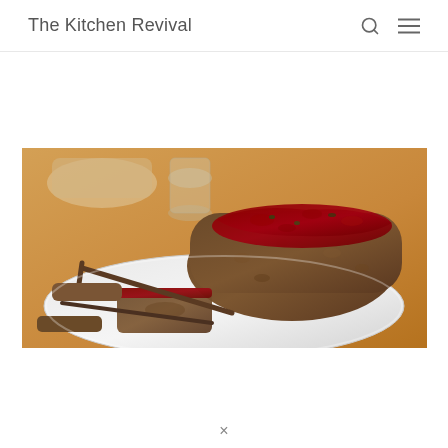The Kitchen Revival
[Figure (photo): A meatloaf with a dark red glaze on top, sliced and served on a white oval plate with a fork and knife. Background shows a wooden table with a glass. The meatloaf is hearty and textured.]
×